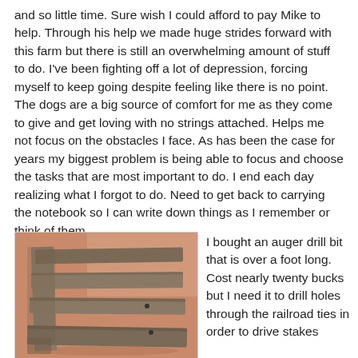and so little time. Sure wish I could afford to pay Mike to help. Through his help we made huge strides forward with this farm but there is still an overwhelming amount of stuff to do. I've been fighting off a lot of depression, forcing myself to keep going despite feeling like there is no point. The dogs are a big source of comfort for me as they come to give and get loving with no strings attached. Helps me not focus on the obstacles I face. As has been the case for years my biggest problem is being able to focus and choose the tasks that are most important to do. I end each day realizing what I forgot to do. Need to get back to carrying the notebook so I can write down things as I remember or think of them.
[Figure (photo): A photograph of wooden railroad ties arranged in a rectangular frame structure, sitting on reddish-brown dirt ground.]
I bought an auger drill bit that is over a foot long. Cost nearly twenty bucks but I need it to drill holes through the railroad ties in order to drive stakes